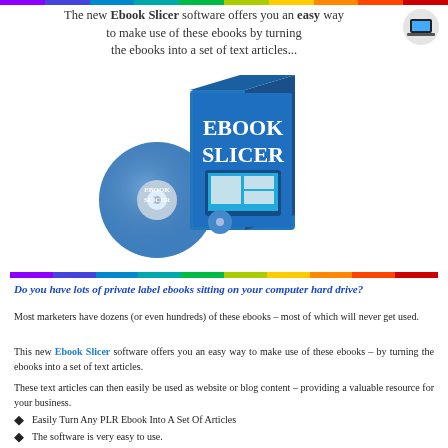[Figure (illustration): Ebook Slicer software product box with CD and laptop screen showing the product]
The new Ebook Slicer software offers you an easy way to make use of these ebooks by turning the ebooks into a set of text articles...
Do you have lots of private label ebooks sitting on your computer hard drive?
Most marketers have dozens (or even hundreds) of these ebooks – most of which will never get used.
This new Ebook Slicer software offers you an easy way to make use of these ebooks – by turning the ebooks into a set of text articles.
These text articles can then easily be used as website or blog content – providing a valuable resource for your business.
Easily Turn Any PLR Ebook Into A Set Of Articles
The software is very easy to use.
Before using the software, edit your ebook using any standard editor, such Microsoft Word or OpenOffice Writer.
Insert some special text where you want the ebook split. The software will split the